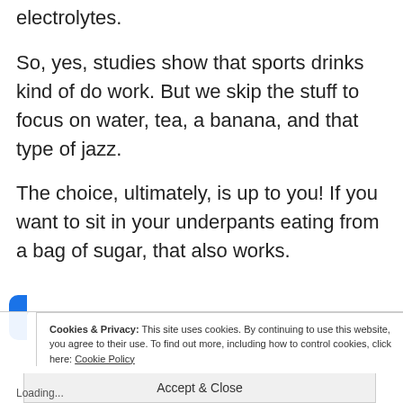electrolytes.
So, yes, studies show that sports drinks kind of do work. But we skip the stuff to focus on water, tea, a banana, and that type of jazz.
The choice, ultimately, is up to you! If you want to sit in your underpants eating from a bag of sugar, that also works.
Cookies & Privacy: This site uses cookies. By continuing to use this website, you agree to their use. To find out more, including how to control cookies, click here: Cookie Policy
Accept & Close
Loading...